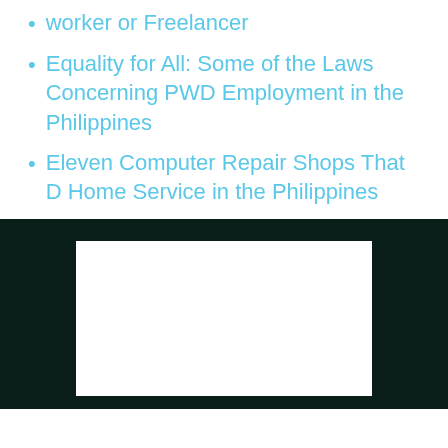worker or Freelancer
Equality for All: Some of the Laws Concerning PWD Employment in the Philippines
Eleven Computer Repair Shops That D Home Service in the Philippines
[Figure (other): Dark teal/dark green background section with a white rectangle embedded in it, partially visible at the bottom of the page.]